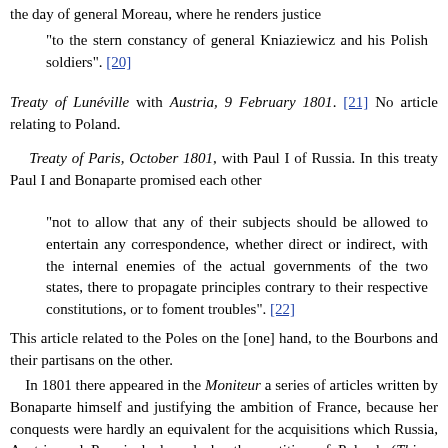the day of general Moreau, where he renders justice
"to the stern constancy of general Kniaziewicz and his Polish soldiers". [20]
Treaty of Lunéville with Austria, 9 February 1801. [21] No article relating to Poland.
Treaty of Paris, October 1801, with Paul I of Russia. In this treaty Paul I and Bonaparte promised each other
"not to allow that any of their subjects should be allowed to entertain any correspondence, whether direct or indirect, with the internal enemies of the actual governments of the two states, there to propagate principles contrary to their respective constitutions, or to foment troubles". [22]
This article related to the Poles on the [one] hand, to the Bourbons and their partisans on the other.
In 1801 there appeared in the Moniteur a series of articles written by Bonaparte himself and justifying the ambition of France, because her conquests were hardly an equivalent for the acquisitions which Russia, Austria and Prussia had made by the partition of Poland. (Thiers, Histoire du Consulat et de l'Empire, t. III, p. 153.)
During the peace the Polish legions were treated as an